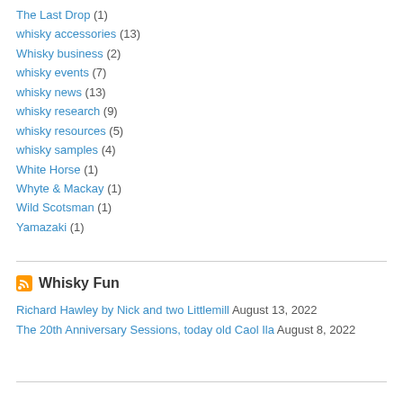The Last Drop (1)
whisky accessories (13)
Whisky business (2)
whisky events (7)
whisky news (13)
whisky research (9)
whisky resources (5)
whisky samples (4)
White Horse (1)
Whyte & Mackay (1)
Wild Scotsman (1)
Yamazaki (1)
Whisky Fun
Richard Hawley by Nick and two Littlemill August 13, 2022
The 20th Anniversary Sessions, today old Caol Ila August 8, 2022